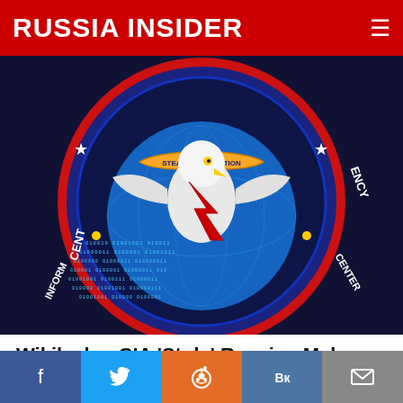RUSSIA INSIDER
[Figure (illustration): CIA/intelligence agency circular seal with eagle, lightning bolt, and binary code on globe background, dark blue and red color scheme]
Wikileaks: CIA 'Stole' Russian Malware, Uses It to 'Misdirect Attribution' of Cyber Attacks
RI Staff  🔥 92,454  💬 Comments
[Figure (photo): Blonde woman in front of a dark screen/monitor, likely a news broadcast setting]
[Figure (infographic): Social media share bar at bottom: Facebook, Twitter, Reddit, VK, Email buttons]